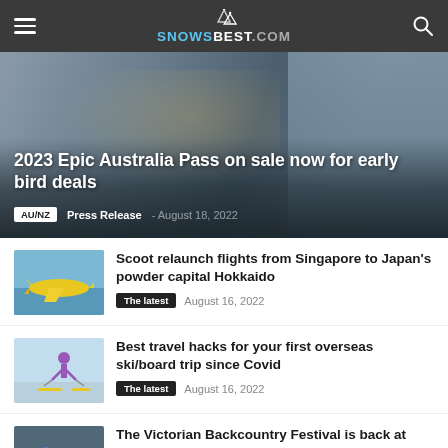SNOWSBEST.COM
[Figure (photo): Hero image of a skier racing downhill in yellow jacket, with aerial view of ski resort on right. Overlaid text: 2023 Epic Australia Pass on sale now for early bird deals, AU/NZ, Press Release, August 18, 2022]
2023 Epic Australia Pass on sale now for early bird deals
AU/NZ  Press Release - August 18, 2022
[Figure (photo): Thumbnail of a yellow airplane in flight against blue sky]
Scoot relaunch flights from Singapore to Japan's powder capital Hokkaido
The latest  August 16, 2022
[Figure (photo): Thumbnail of a skier on a ski slope in blue sky conditions]
Best travel hacks for your first overseas ski/board trip since Covid
The latest  August 16, 2022
[Figure (photo): Thumbnail of a group of skiers in colorful jackets posing together]
The Victorian Backcountry Festival is back at Hotham in September